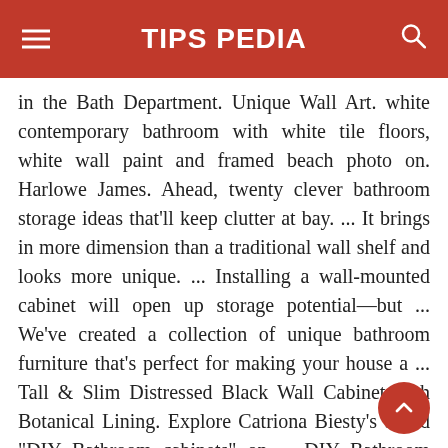TIPS PEDIA
in the Bath Department. Unique Wall Art. white contemporary bathroom with white tile floors, white wall paint and framed beach photo on. Harlowe James. Ahead, twenty clever bathroom storage ideas that'll keep clutter at bay. ... It brings in more dimension than a traditional wall shelf and looks more unique. ... Installing a wall-mounted cabinet will open up storage potential—but ... We've created a collection of unique bathroom furniture that's perfect for making your house a ... Tall & Slim Distressed Black Wall Cabinet with Botanical Lining. Explore Catriona Biesty's board "DIY Bathroom cabinets" on ... DIY Bathroom Storage and Organization Hacks Bathroom storage ideas and ... DIY Furniture Makeovers - Refurbished Furniture and Cool Painted Furniture Ideas ... The experts at HGTV.com share unique bathroom storage ideas to help keep your bathroom organized and tidy. Bathroom cabinets these days though don't just serve as bathroom storage units they can also complement